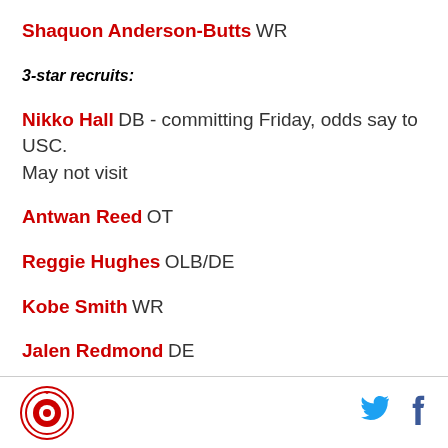Shaquon Anderson-Butts WR
3-star recruits:
Nikko Hall DB - committing Friday, odds say to USC. May not visit
Antwan Reed OT
Reggie Hughes OLB/DE
Kobe Smith WR
Jalen Redmond DE
Draco Bynum DE
Logo | Twitter | Facebook